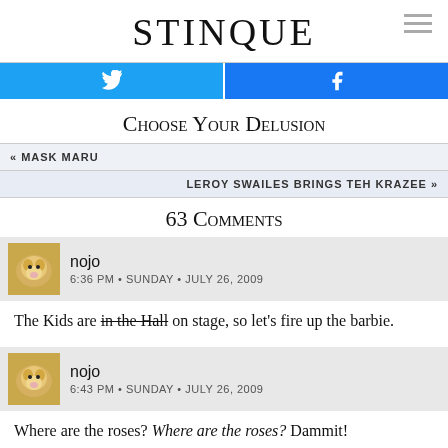STINQUE
[Figure (other): Twitter and Facebook share buttons]
Choose Your Delusion
« MASK MARU
LEROY SWAILES BRINGS TEH KRAZEE »
63 Comments
[Figure (photo): Avatar image of a hamster/guinea pig]
nojo
6:36 PM • SUNDAY • JULY 26, 2009
The Kids are in the Hall on stage, so let's fire up the barbie.
[Figure (photo): Avatar image of a hamster/guinea pig]
nojo
6:43 PM • SUNDAY • JULY 26, 2009
Where are the roses? Where are the roses? Dammit!
[Figure (photo): Avatar image of a hamster/guinea pig (partial)]
nojo